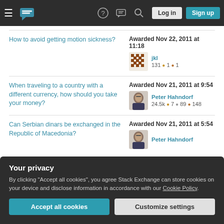Stack Exchange navigation bar with hamburger menu, logo, help, chat, search icons, Log in and Sign up buttons
How to avoid getting motion sickness? — Awarded Nov 22, 2011 at 11:18 — jkl — 131 — 1 gold — 1 silver
When traveling to a country with a different currency, how should you take your money? — Awarded Nov 21, 2011 at 9:54 — Peter Hahndorf — 24.5k — 7 gold — 89 silver — 148 bronze
Can Serbian dinars be exchanged in the Republic of Macedonia? — Awarded Nov 21, 2011 at 5:54 — Peter Hahndorf
Your privacy
By clicking "Accept all cookies", you agree Stack Exchange can store cookies on your device and disclose information in accordance with our Cookie Policy.
Accept all cookies — Customize settings
Three days in Montenegro, looking for good beaches, where should we go? — Awarded Nov 19, 2011 at 10:59